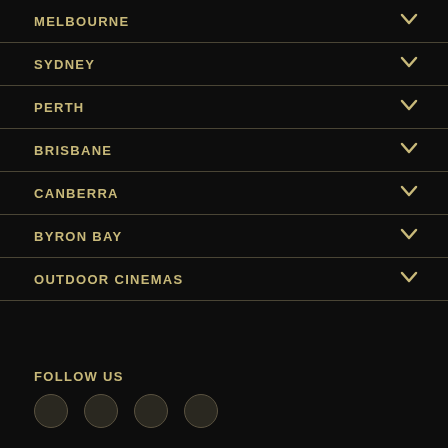MELBOURNE
SYDNEY
PERTH
BRISBANE
CANBERRA
BYRON BAY
OUTDOOR CINEMAS
FOLLOW US